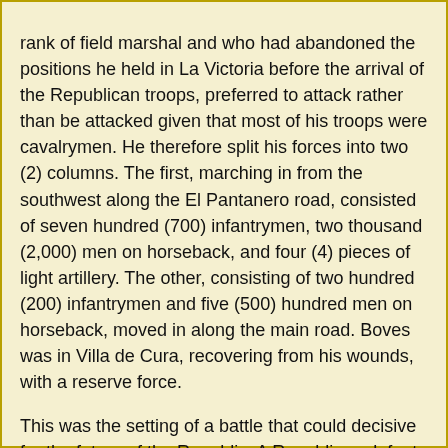rank of field marshal and who had abandoned the positions he held in La Victoria before the arrival of the Republican troops, preferred to attack rather than be attacked given that most of his troops were cavalrymen. He therefore split his forces into two (2) columns. The first, marching in from the southwest along the El Pantanero road, consisted of seven hundred (700) infantrymen, two thousand (2,000) men on horseback, and four (4) pieces of light artillery. The other, consisting of two hundred (200) infantrymen and five (500) hundred men on horseback, moved in along the main road. Boves was in Villa de Cura, recovering from his wounds, with a reserve force.
This was the setting of a battle that could decisive for the future of the Republic. A Republican defeat at La Victoria would open up the road to Caracas through the Valleys of Aragua, leaving the city surrounded and at the mercy of Boves's troops; this city also faced a threat from the south, where Rosete was marching towards Caracas at the head of a column of 2,000 men, leaving terror in his wake as part of the War to the Death.
Written by